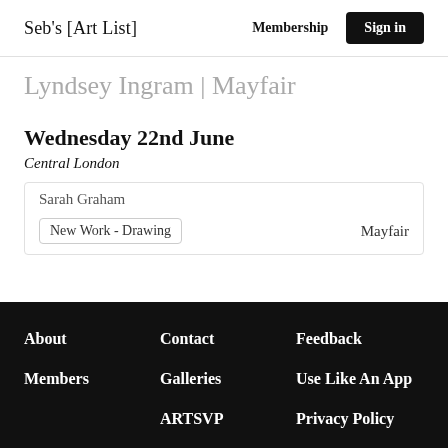Seb's [Art List]  Membership  Sign in
Lyndsey Ingram | Mayfair
Wednesday 22nd June
Central London
Sarah Graham
New Work - Drawing    Mayfair
About  Contact  Feedback  Members  Galleries  Use Like An App  ARTSVP  Privacy Policy